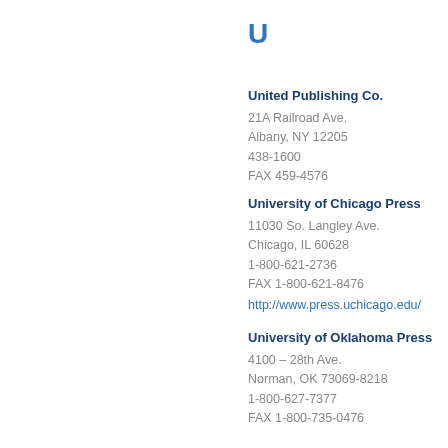U
United Publishing Co.
21A Railroad Ave.
Albany, NY 12205
438-1600
FAX 459-4576
University of Chicago Press
11030 So. Langley Ave.
Chicago, IL 60628
1-800-621-2736
FAX 1-800-621-8476
http://www.press.uchicago.edu/
University of Oklahoma Press
4100 – 28th Ave.
Norman, OK 73069-8218
1-800-627-7377
FAX 1-800-735-0476